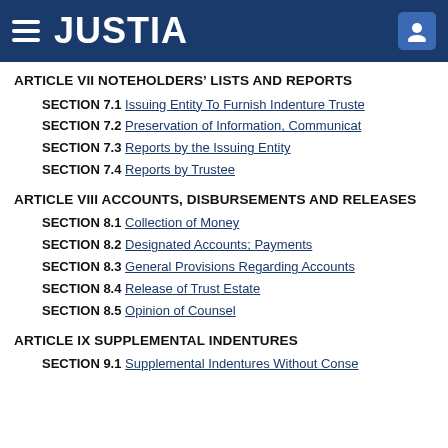JUSTIA
ARTICLE VII NOTEHOLDERS' LISTS AND REPORTS
SECTION 7.1 Issuing Entity To Furnish Indenture Truste...
SECTION 7.2 Preservation of Information, Communicat...
SECTION 7.3 Reports by the Issuing Entity
SECTION 7.4 Reports by Trustee
ARTICLE VIII ACCOUNTS, DISBURSEMENTS AND RELEASES
SECTION 8.1 Collection of Money
SECTION 8.2 Designated Accounts; Payments
SECTION 8.3 General Provisions Regarding Accounts
SECTION 8.4 Release of Trust Estate
SECTION 8.5 Opinion of Counsel
ARTICLE IX SUPPLEMENTAL INDENTURES
SECTION 9.1 Supplemental Indentures Without Conse...